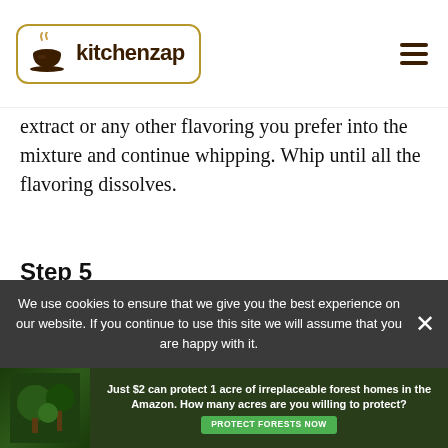kitchenzap
extract or any other flavoring you prefer into the mixture and continue whipping. Whip until all the flavoring dissolves.
Step 5
We use cookies to ensure that we give you the best experience on our website. If you continue to use this site we will assume that you are happy with it.
[Figure (infographic): Advertisement banner: Just $2 can protect 1 acre of irreplaceable forest homes in the Amazon. How many acres are you willing to protect? PROTECT FORESTS NOW]